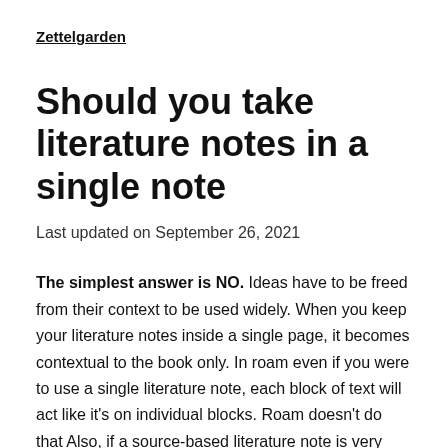Zettelgarden
Should you take literature notes in a single note
Last updated on September 26, 2021
The simplest answer is NO. Ideas have to be freed from their context to be used widely. When you keep your literature notes inside a single page, it becomes contextual to the book only. In roam even if you were to use a single literature note, each block of text will act like it's on individual blocks. Roam doesn't do that Also, if a source-based literature note is very essential, you